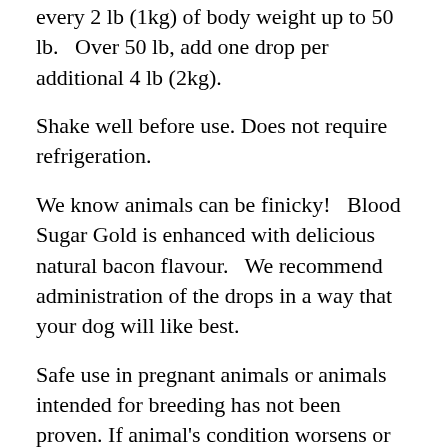every 2 lb (1kg) of body weight up to 50 lb.   Over 50 lb, add one drop per additional 4 lb (2kg).
Shake well before use. Does not require refrigeration.
We know animals can be finicky!   Blood Sugar Gold is enhanced with delicious natural bacon flavour.   We recommend administration of the drops in a way that your dog will like best.
Safe use in pregnant animals or animals intended for breeding has not been proven. If animal's condition worsens or does not improve, stop product administration and consult your veterinarian. An examination from a veterinarian is recommended prior to using this product. Product may be hypoglycemic. May heighten the effect of blood-sugar-lowering drugs. Monitor blood sugar levels closely if administering this product with blood sugar lowering drugs. A veterinarian can help to ensure optimal blood sugar levels are maintained. This is not a replacement